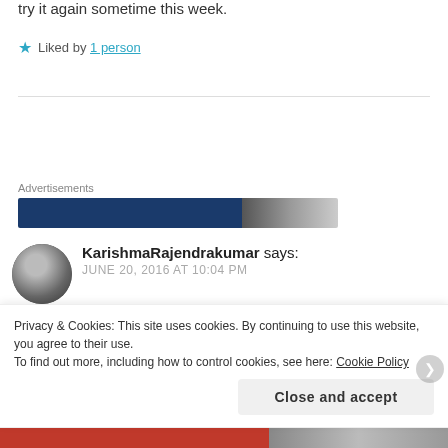try it again sometime this week.
★ Liked by 1 person
Advertisements
[Figure (photo): Advertisement banner with dark blue background and partial image on right side]
KarishmaRajendrakumar says: JUNE 20, 2016 AT 10:04 PM
I love using coconut oil. Thanks for sharing. A very
Privacy & Cookies: This site uses cookies. By continuing to use this website, you agree to their use. To find out more, including how to control cookies, see here: Cookie Policy
Close and accept